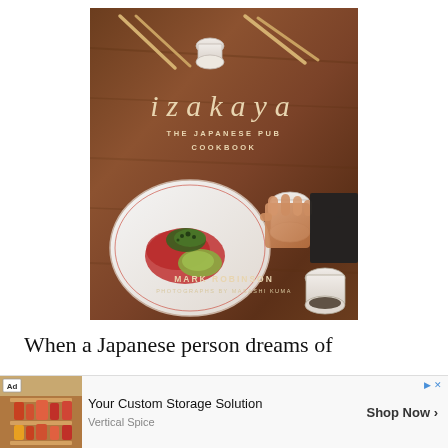[Figure (photo): Book cover of 'izakaya: THE JAPANESE PUB COOKBOOK' by Mark Robinson, photographs by Masashi Kuma. The cover shows a dark wood table with chopsticks, a white ceramic cup/sake dish, a decorative plate with sashimi/seafood dish topped with greens, and a person's hand holding a small ceramic cup. The title 'izakaya' is in large italic serif type, with subtitle and author name below.]
When a Japanese person dreams of quitting his or her rat-race job and
[Figure (photo): Advertisement banner: 'Ad' label, image of a pull-out storage shelf/spice rack with jars, text 'Your Custom Storage Solution', source 'Vertical Spice', call-to-action 'Shop Now >', with playback/ad icons top right. X close button to the left.]